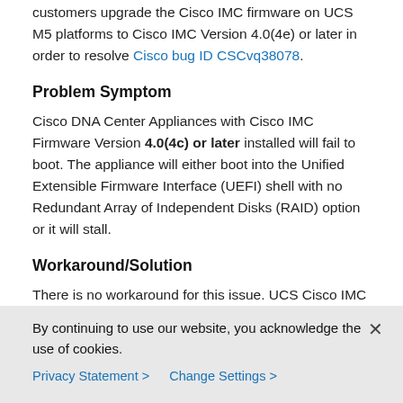customers upgrade the Cisco IMC firmware on UCS M5 platforms to Cisco IMC Version 4.0(4e) or later in order to resolve Cisco bug ID CSCvq38078.
Problem Symptom
Cisco DNA Center Appliances with Cisco IMC Firmware Version 4.0(4c) or later installed will fail to boot. The appliance will either boot into the Unified Extensible Firmware Interface (UEFI) shell with no Redundant Array of Independent Disks (RAID) option or it will stall.
Workaround/Solution
There is no workaround for this issue. UCS Cisco IMC Firmware Version 4.0(4b) is the latest release supported on affected Cisco DNA Center Appliances until Cisco announces support for the Secure Boot feature in the Cisco DNA Center software.
By continuing to use our website, you acknowledge the use of cookies.
Privacy Statement > Change Settings >